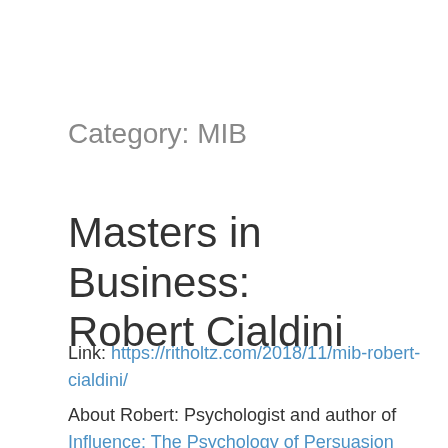Category: MIB
Masters in Business: Robert Cialdini
Link: https://ritholtz.com/2018/11/mib-robert-cialdini/
About Robert: Psychologist and author of Influence: The Psychology of Persuasion